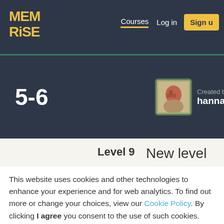MEM RISE — Courses | Log in | Sign up
5-6
Created by hannakim
Level 9   New level
← Level 8
This website uses cookies and other technologies to enhance your experience and for web analytics. To find out more or change your choices, view our Cookie Policy. By clicking I agree you consent to the use of such cookies.
50 words
I agree
Ready to lear
Learn
bronze